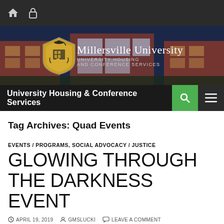[Figure (screenshot): Website screenshot of Millersville University Housing and Conference Services page, showing toolbar with home and lock icons, a banner photo of campus buildings at dusk with the Millersville University shield logo and text, a dark navigation bar with site title, green search button, and hamburger menu icon.]
Tag Archives: Quad Events
EVENTS / PROGRAMS, SOCIAL ADVOCACY / JUSTICE
GLOWING THROUGH THE DARKNESS EVENT
APRIL 19, 2019   GMSLUCKI   LEAVE A COMMENT